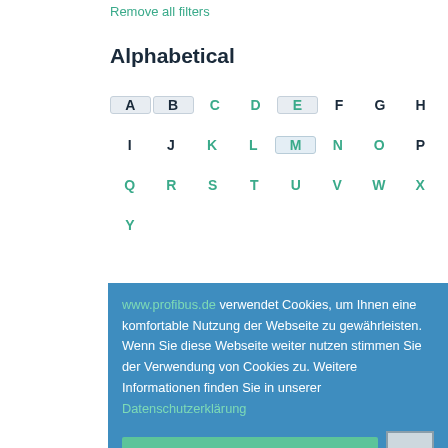Remove all filters
Alphabetical
A B C D E F G H
I J K L M N O P
Q R S T U V W X
Y
www.profibus.de verwendet Cookies, um Ihnen eine komfortable Nutzung der Webseite zu gewährleisten. Wenn Sie diese Webseite weiter nutzen stimmen Sie der Verwendung von Cookies zu. Weitere Informationen finden Sie in unserer Datenschutzerklärung
Verstanden
Technology
PROFIBUS
PROFIBUS PA
PROFINET
PROFIsafe
Scope